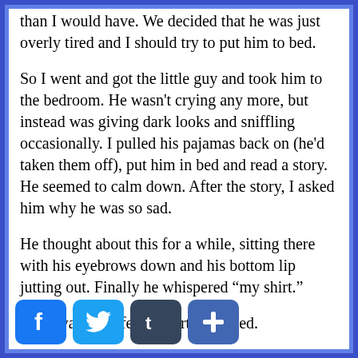than I would have. We decided that he was just overly tired and I should try to put him to bed.
So I went and got the little guy and took him to the bedroom. He wasn't crying any more, but instead was giving dark looks and sniffling occasionally. I pulled his pajamas back on (he'd taken them off), put him in bed and read a story. He seemed to calm down. After the story, I asked him why he was so sad.
He thought about this for a while, sitting there with his eyebrows down and his bottom lip jutting out. Finally he whispered “my shirt.”
“You want a different shirt?” I asked.
He nodded.
I oped the dresser and pulled out another pajama shirt. “How about this one?”